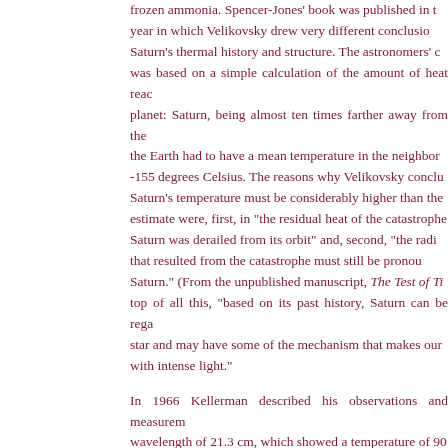frozen ammonia. Spencer-Jones' book was published in the year in which Velikovsky drew very different conclusions from Saturn's thermal history and structure. The astronomers' consensus was based on a simple calculation of the amount of heat reaching the planet: Saturn, being almost ten times farther away from the Sun than the Earth had to have a mean temperature in the neighborhood of -155 degrees Celsius. The reasons why Velikovsky concluded that Saturn's temperature must be considerably higher than the accepted estimate were, first, in "the residual heat of the catastrophe in which Saturn was derailed from its orbit" and, second, "the radioactivity that resulted from the catastrophe must still be pronounced on Saturn." (From the unpublished manuscript, The Test of Time.) On top of all this, "based on its past history, Saturn can be regarded as a star and may have some of the mechanism that makes our star shine with intense light."
In 1966 Kellerman described his observations and measurements at a wavelength of 21.3 cm, which showed a temperature of 90 degrees Fahrenheit for the inner atmospheric layers. (Icarus) Astronomy textbooks, taking account of the findings, began to speak of a "high temperature" on Saturn, recorded in the 21-centimeter band (see Fred Whipple, Earth, Moon and Planets third revised edition [Cambridge, Mass., 1968], p. 187). By 1972 measurements at wavelengths of 50 and 100 centimeters found "unusually high" temperatures—about 240 degrees F. and 520 degrees F. resp